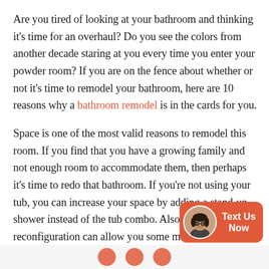Are you tired of looking at your bathroom and thinking it's time for an overhaul? Do you see the colors from another decade staring at you every time you enter your powder room? If you are on the fence about whether or not it's time to remodel your bathroom, here are 10 reasons why a bathroom remodel is in the cards for you.
Space is one of the most valid reasons to remodel this room. If you find that you have a growing family and not enough room to accommodate them, then perhaps it's time to redo that bathroom. If you're not using your tub, you can increase your space by adding a stand-up shower instead of the tub combo. Also, doing a brief reconfiguration can allow you some more room. Closets are another reasons why updating is necessary. If you need more storage space, add one in the p...
[Figure (other): Chat widget with female avatar wearing glasses and 'Text Us Now' label on orange-red background]